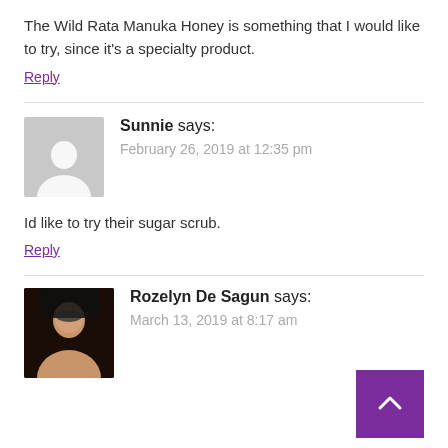The Wild Rata Manuka Honey is something that I would like to try, since it's a specialty product.
Reply
Sunnie says: February 26, 2019 at 12:35 pm
Id like to try their sugar scrub.
Reply
Rozelyn De Sagun says: March 13, 2019 at 8:17 am